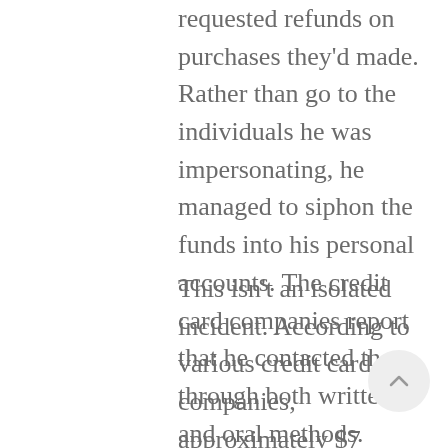requested refunds on purchases they'd made. Rather than go to the individuals he was impersonating, he managed to siphon the funds into his personal accounts. The credit card companies report that he contacted them through both written and oral methods.
This isn't an isolated incident. According to various credit card companies, approximately $7 billion dollars were lost just in 2016 to fraudulent charge backs. Many anticipate that number reaching $31 billion by the end of 2020. It's unclear how many people are involved in this scam, but it's believed to be taking place in all fifty states. If this trend